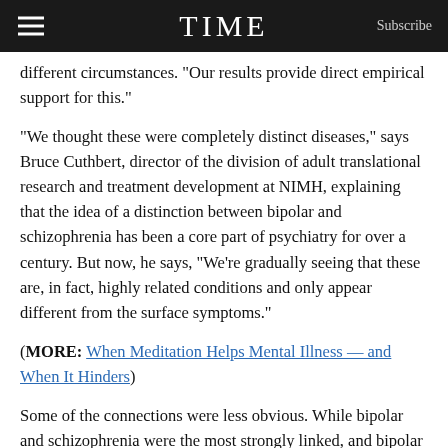TIME | Subscribe
different circumstances. “Our results provide direct empirical support for this.”
“We thought these were completely distinct diseases,” says Bruce Cuthbert, director of the division of adult translational research and treatment development at NIMH, explaining that the idea of a distinction between bipolar and schizophrenia has been a core part of psychiatry for over a century. But now, he says, “We’re gradually seeing that these are, in fact, highly related conditions and only appear different from the surface symptoms.”
(MORE: When Meditation Helps Mental Illness — and When It Hinders)
Some of the connections were less obvious. While bipolar and schizophrenia were the most strongly linked, and bipolar and depression were moderately linked (not surprisingly), the